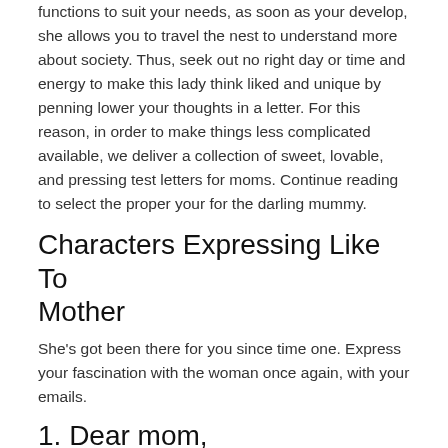functions to suit your needs, as soon as your develop, she allows you to travel the nest to understand more about society. Thus, seek out no right day or time and energy to make this lady think liked and unique by penning lower your thoughts in a letter. For this reason, in order to make things less complicated available, we deliver a collection of sweet, lovable, and pressing test letters for moms. Continue reading to select the proper your for the darling mummy.
Characters Expressing Like To Mother
She's got been there for you since time one. Express your fascination with the woman once again, with your emails.
1. Dear mom,
I am aware i've never ever told you this, but i really like your a whole lot. You treasured me with all of your heart. Your love for myself never ever changed; in fact, they doubled while I required it the quintessential.